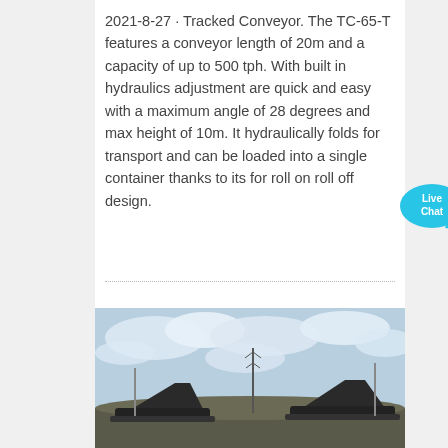2021-8-27 · Tracked Conveyor. The TC-65-T features a conveyor length of 20m and a capacity of up to 500 tph. With built in hydraulics adjustment are quick and easy with a maximum angle of 28 degrees and max height of 10m. It hydraulically folds for transport and can be loaded into a single container thanks to its for roll on roll off design.
[Figure (photo): Outdoor photograph of tracked conveyor equipment at a worksite, with machinery visible and a cloudy sky in background.]